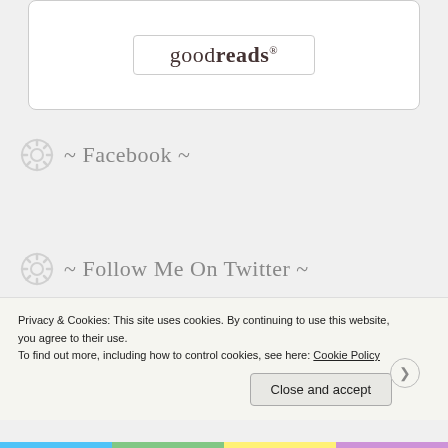[Figure (logo): Goodreads logo inside a bordered box widget]
~ Facebook ~
~ Follow Me On Twitter ~
Tweets from @Book_Inspector
Privacy & Cookies: This site uses cookies. By continuing to use this website, you agree to their use.
To find out more, including how to control cookies, see here: Cookie Policy
Close and accept